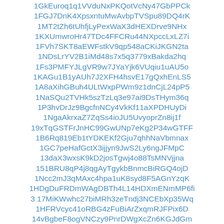1GkEuroq1q1VVduNxPKQotVcNy47GbPPCk
1FGJ7DnK4XpsxntuMwAvbpTVSpu89DQ4rK
1MT2tZh6tUhfjLyPexWaX3dHEXDrve9NHx
1KXUmwroHr47TDc4FFCRu44NXpccLxLZ7i
1FVh7SKT8aEWFstkV9qp548aCKiJKGN2ta
1NDsLrYV2B1iMd48s7x5q3779xBakda2hq
1Fs3PMFYJLgVR9w7JYaYjk6VUqiu1uAU5o
1KAGu1B1yAUh7J2XFH4hsvE17gQxhEnLS5
1A8aXihGBuh4ULtWxpPWm9z1dnCjL24pP5
1NaSQu2TVHk5szTzLq3e97ai9DsTHym36q
1P3hvDrJz9BgcfnNCy4VkKf11aXPDHUyDi
1NgaAkrxaZ7ZqSs4ioJU5UvyoprZn8ij1f
19xTqGSTFrJnHC99GwUNp7eKg2P34wGTFF
1B6Rq819Eb1tYDKEKf2Gju7qhhNaVbmnax
1GC7peHafGctX3ijjyn9JwS2Ly6ngJFMpC
13daX3wxsK9kD2josTgwj4o88TsMNVjjna
151BRU8qP4j8qgAyTgykbBnmcBiRGQ4ojD
1Ncc2mJ3qMAxc4hpa1uK8syd8F5AGnYzqK
1HDgDuFRDmWAgDBTh4L14HDXmENmMP6fi
3 17MiKWwhc27biMRh3zeTndj3NCEbXp35Wq
1HFRVcyc41oRBG4zFuBiArZxqmRJFPix6D
14vBgbeF8ogVNCzy9PnrDWgXcZn6KGJdGm
1DsRWVDUXC5zqMMyZ1gpLHGiowATR1VCkN